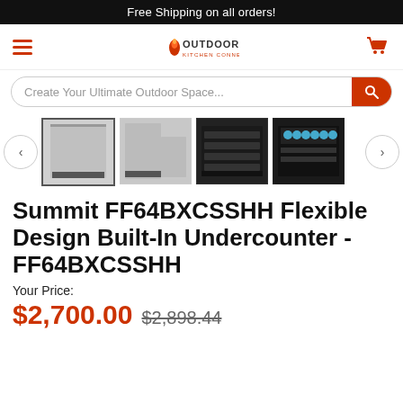Free Shipping on all orders!
[Figure (logo): Outdoor Kitchen Connection logo with flame icon]
Create Your Ultimate Outdoor Space...
[Figure (photo): Four product thumbnail images of Summit FF64BXCSSHH undercounter refrigerator from different angles]
Summit FF64BXCSSHH Flexible Design Built-In Undercounter - FF64BXCSSHH
Your Price:
$2,700.00  $2,898.44